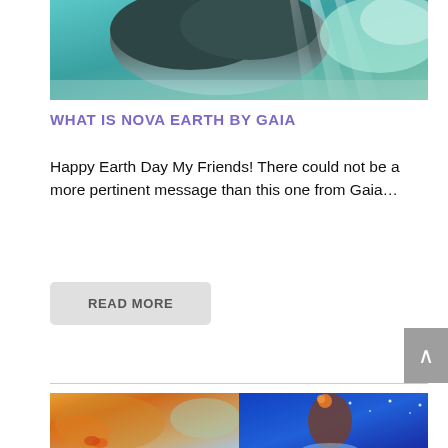[Figure (photo): Sky photo with dramatic dark storm clouds and rays of light breaking through, teal/blue sky tones]
WHAT IS NOVA EARTH BY GAIA
Happy Earth Day My Friends! There could not be a more pertinent message than this one from Gaia…
READ MORE
[Figure (illustration): Colorful spiritual illustration with a woman figure surrounded by swirling cosmic imagery on left, and a figure with flowers in hair against night sky on right]